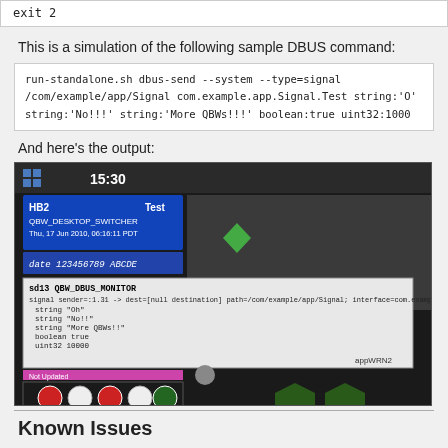exit 2
This is a simulation of the following sample DBUS command:
run-standalone.sh dbus-send --system --type=signal /com/example/app/Signal com.example.app.Signal.Test string:'O' string:'No!!!' string:'More QBWs!!!' boolean:true uint32:1000
And here's the output:
[Figure (screenshot): Screenshot of a simulated DBUS signal output on a mobile device UI showing various widgets including a dice game, date/time info, and a DBUS monitor notification popup]
Known Issues